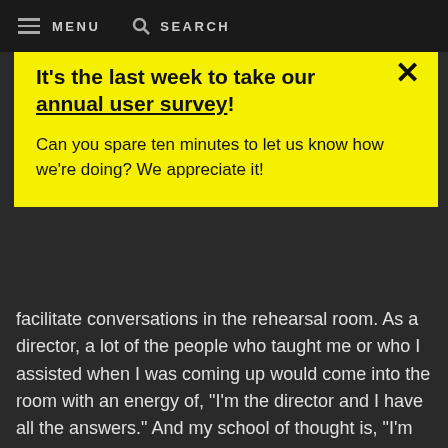MENU   SEARCH
It's the last week to take our annual user survey!
Can you spare ten minutes to let us know how we're doing? We appreciate it!
facilitate conversations in the rehearsal room. As a director, a lot of the people who taught me or who I assisted when I was coming up would come into the room with an energy of, "I'm the director and I have all the answers." And my school of thought is, "I'm the director and I'm hoping to ask the right questions in a thoughtful and sensitive and collaborative way." It also means I need to be aware of my own identity, which is limited, and my own bias